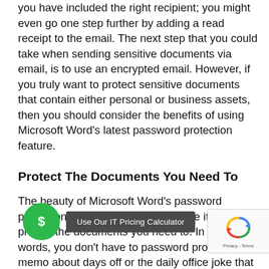you have included the right recipient; you might even go one step further by adding a read receipt to the email. The next step that you could take when sending sensitive documents via email, is to use an encrypted email. However, if you truly want to protect sensitive documents that contain either personal or business assets, then you should consider the benefits of using Microsoft Word's latest password protection feature.
Protect The Documents You Need To
The beauty of Microsoft Word's password protection feature is that you can use it to protect the documents you need to. In other words, you don't have to password protect the memo about days off or the daily office joke that brings a bit of cheer in the m…. …nd choose wha… do…ments you protect with a password. In this… should go without saying that you need to send the